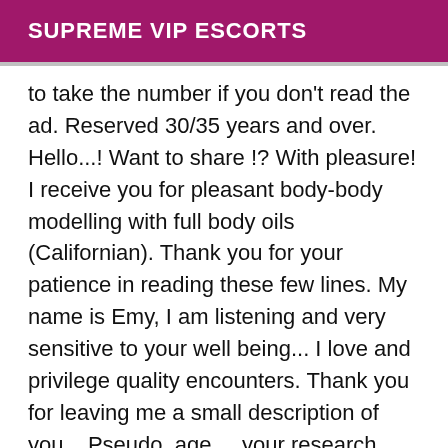SUPREME VIP ESCORTS
to take the number if you don't read the ad. Reserved 30/35 years and over. Hello...! Want to share !? With pleasure! I receive you for pleasant body-body modelling with full body oils (Californian). Thank you for your patience in reading these few lines. My name is Emy, I am listening and very sensitive to your well being... I love and privilege quality encounters. Thank you for leaving me a small description of you... Pseudo, age ... your research ... date and time desired or other information ... allowing a better organization of our meetings. Being selective and experienced I reserve the right to accept the appointment. PINE CASTLE Centre Ville Residence Private, discretion of rigour, nice and refined place easy access, parking nearby. I welcome you: Monday to Friday from 10 am to 6 pm. Thank you for taking note of these few instructions. I answer you: Appointments are on reservation. Monday to Friday from